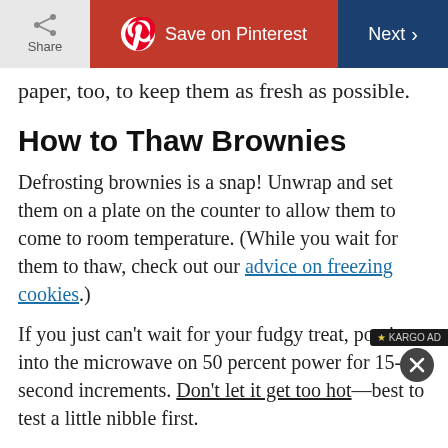Share | Save on Pinterest | Next
paper, too, to keep them as fresh as possible.
How to Thaw Brownies
Defrosting brownies is a snap! Unwrap and set them on a plate on the counter to allow them to come to room temperature. (While you wait for them to thaw, check out our advice on freezing cookies.)
If you just can't wait for your fudgy treat, pop it into the microwave on 50 percent power for 15-second increments. Don't let it get too hot—best to test a little nibble first.